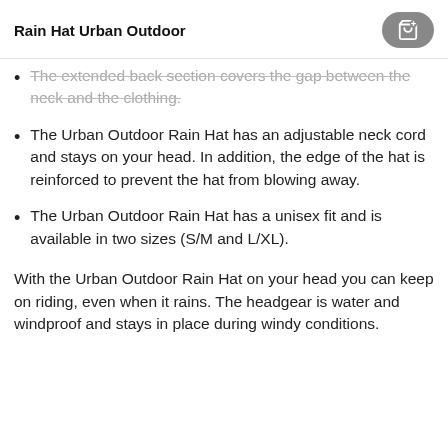Rain Hat Urban Outdoor
The extended back section covers the gap between the neck and the clothing.
The Urban Outdoor Rain Hat has an adjustable neck cord and stays on your head. In addition, the edge of the hat is reinforced to prevent the hat from blowing away.
The Urban Outdoor Rain Hat has a unisex fit and is available in two sizes (S/M and L/XL).
With the Urban Outdoor Rain Hat on your head you can keep on riding, even when it rains. The headgear is water and windproof and stays in place during windy conditions.